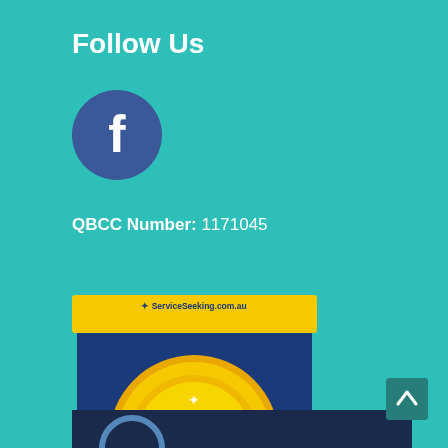Follow Us
[Figure (logo): Facebook circular logo icon — dark blue/purple circle with white lowercase f]
QBCC Number:  1171045
[Figure (illustration): ServiceSeeking.com.au Top Business 2021 badge — shield shape in dark blue with yellow top banner showing ServiceSeeking.com.au, gold medallion with 2021 in center, TOP BUSINESS text and three stars at bottom]
[Figure (photo): Partial bottom image showing dark navy background with partial circular logo visible]